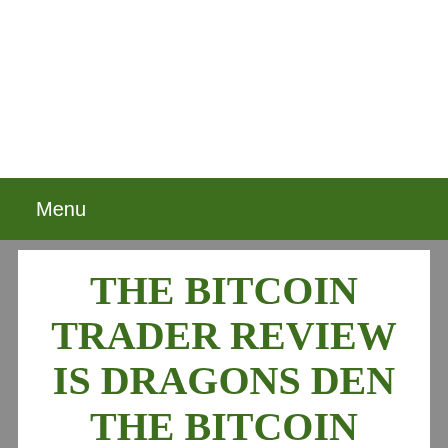Menu
THE BITCOIN TRADER REVIEW IS DRAGONS DEN THE BITCOIN TRADER SOFTWARE SCAM OR